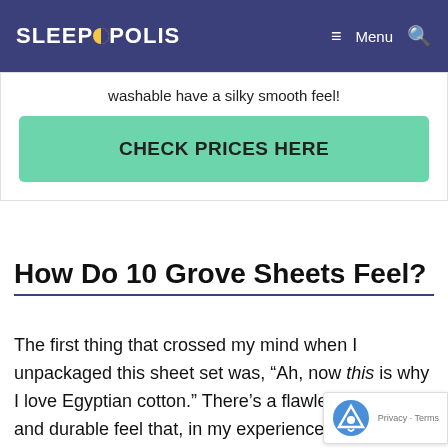SLEEPOPOLIS  Menu (search icon)
washable have a silky smooth feel!
CHECK PRICES HERE
How Do 10 Grove Sheets Feel?
The first thing that crossed my mind when I unpackaged this sheet set was, “Ah, now this is why I love Egyptian cotton.” There’s a flawlessly smooth and durable feel that, in my experience, unique to pure Egyptian cotton, and 10 Grove bedding is a shining example.